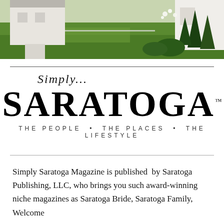[Figure (photo): Landscape photo showing a white building/house structure on the right, green lawn, dark evergreen trees, and a garden with white flowers against a sky background]
[Figure (logo): Simply... Saratoga magazine logo with cursive 'Simply...' above bold serif 'SARATOGA' and tagline 'THE PEOPLE • THE PLACES • THE LIFESTYLE']
Simply Saratoga Magazine is published by Saratoga Publishing, LLC, who brings you such award-winning niche magazines as Saratoga Bride, Saratoga Family, Welcome